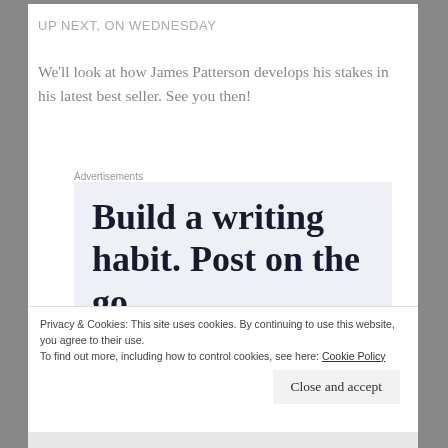UP NEXT, ON WEDNESDAY
We'll look at how James Patterson develops his stakes in his latest best seller.  See you then!
Advertisements
[Figure (infographic): Advertisement box with light blue-grey background containing large bold serif text: 'Build a writing habit. Post on the go.']
Privacy & Cookies: This site uses cookies. By continuing to use this website, you agree to their use.
To find out more, including how to control cookies, see here: Cookie Policy
Close and accept